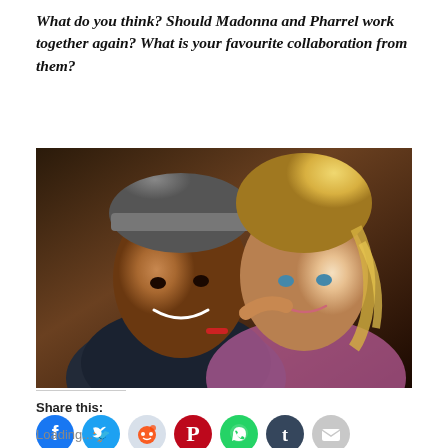What do you think? Should Madonna and Pharrel work together again? What is your favourite collaboration from them?
[Figure (photo): Photo of Pharrell Williams and Madonna posing together closely, both smiling. Pharrell wears a grey beanie hat and denim jacket with a red bracelet; Madonna has blonde wavy hair.]
Share this:
[Figure (infographic): Row of social media share icons: Facebook (blue), Twitter (blue), Reddit (light blue/grey), Pinterest (red), WhatsApp (green), Tumblr (dark navy), Email (grey)]
Loading...